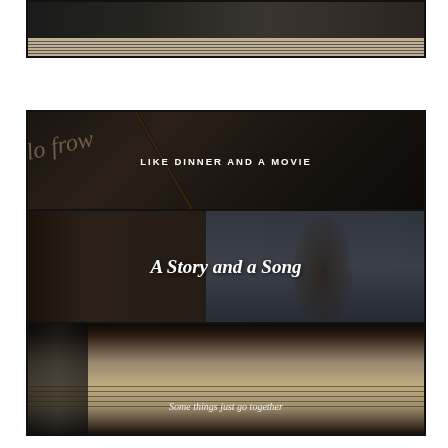[Figure (photo): Partial view of a film/video thumbnail showing sheet music at the bottom, cropped at top of page]
[Figure (photo): Three-panel composite image: top panel shows a pencil writing with text 'LIKE DINNER AND A MOVIE' in bold white letters; middle panel shows a person at a diamond-lattice window with italic white text 'A Story and a Song'; bottom panel shows sheet music with white italic text 'Some things just go together']